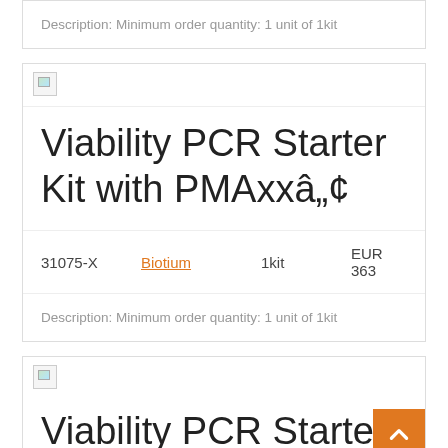Description: Minimum order quantity: 1 unit of 1kit
[Figure (photo): Broken/placeholder product image thumbnail]
Viability PCR Starter Kit with PMAxxâ„¢
31075-X    Biotium    1kit    EUR 363
Description: Minimum order quantity: 1 unit of 1kit
[Figure (photo): Broken/placeholder product image thumbnail]
Viability PCR Starter